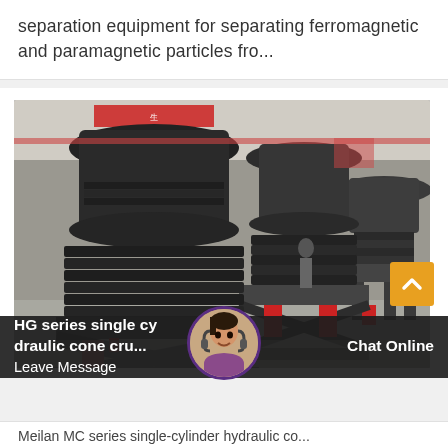separation equipment for separating ferromagnetic and paramagnetic particles fro...
[Figure (photo): Industrial cone crusher machines (HG series single cylinder hydraulic cone crushers) lined up in a large factory/warehouse. The machines are large, dark grey/black, with coil springs at the base and red hydraulic components. Multiple units are visible in the background.]
HG series single cylinder hydraulic cone cru...
Leave Message
Chat Online
Meilan MC series single-cylinder hydraulic co...